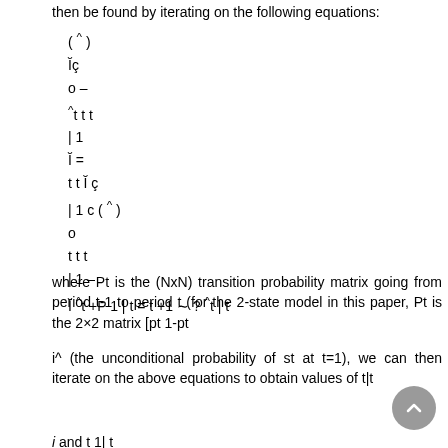then be found by iterating on the following equations:
where Pt is the (NxN) transition probability matrix going from period t-1 to period t (for the 2-state model in this paper, Pt is the 2×2 matrix [pt 1-pt
i^ (the unconditional probability of st at t=1), we can then iterate on the above equations to obtain values of t|t
i and t 1| t